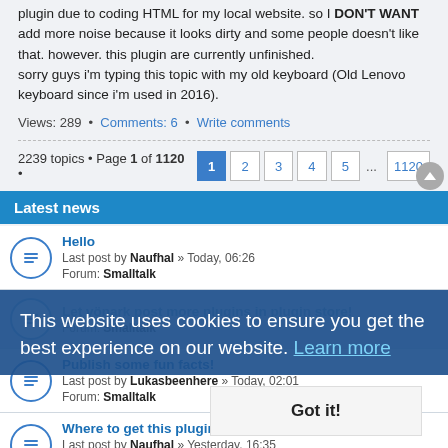plugin due to coding HTML for my local website. so I DON'T WANT add more noise because it looks dirty and some people doesn't like that. however. this plugin are currently unfinished.
sorry guys i'm typing this topic with my old keyboard (Old Lenovo keyboard since i'm used in 2016).
Views: 289 • Comments: 6 • Write comments
2239 topics • Page 1 of 1120 • [1] 2 3 4 5 ... 1120
Latest news
Hello
Last post by Naufhal » Today, 06:26
Forum: Smalltalk
Let vönark post more plugins in plugin store!
Forum: Smalltalk
Publish some fun facts!
Last post by Lukasbeenhere » Today, 02:01
Forum: Smalltalk
Where to get this plugin
Last post by Naufhal » Yesterday, 16:35
Forum: Smalltalk
This website uses cookies to ensure you get the best experience on our website. Learn more
Got it!